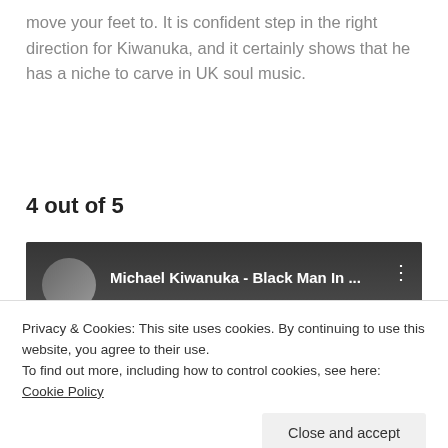move your feet to. It is confident step in the right direction for Kiwanuka, and it certainly shows that he has a niche to carve in UK soul music.
4 out of 5
[Figure (screenshot): YouTube video embed showing Michael Kiwanuka - Black Man In ... with thumbnail of artist in black and white, with three-dot menu icon]
Privacy & Cookies: This site uses cookies. By continuing to use this website, you agree to their use.
To find out more, including how to control cookies, see here: Cookie Policy
Close and accept
[Figure (screenshot): Bottom portion of a YouTube video showing text 'YOYO' in white on a dark black and white image]